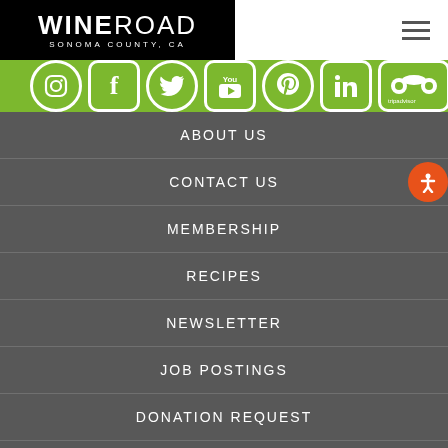WINE ROAD SONOMA County, CA
[Figure (logo): Wine Road Sonoma County CA logo in black box with hamburger menu icon]
[Figure (infographic): Green social media bar with icons: Instagram, Facebook, Twitter, YouTube, Pinterest, LinkedIn, TripAdvisor, WR]
ABOUT US
CONTACT US
MEMBERSHIP
RECIPES
NEWSLETTER
JOB POSTINGS
DONATION REQUEST
MEDIA/TRADE